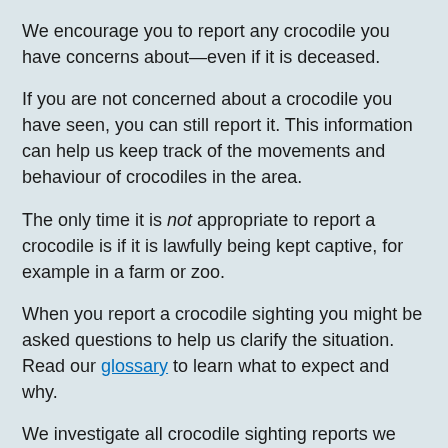We encourage you to report any crocodile you have concerns about—even if it is deceased.
If you are not concerned about a crocodile you have seen, you can still report it. This information can help us keep track of the movements and behaviour of crocodiles in the area.
The only time it is not appropriate to report a crocodile is if it is lawfully being kept captive, for example in a farm or zoo.
When you report a crocodile sighting you might be asked questions to help us clarify the situation. Read our glossary to learn what to expect and why.
We investigate all crocodile sighting reports we receive and deliver our management responses in accordance with the Queensland Crocodile Management Plan (PDF, 2.1MB). You can learn more about these actions on the crocodile management page.
Sign up to receive notifications of crocodile sightings in your